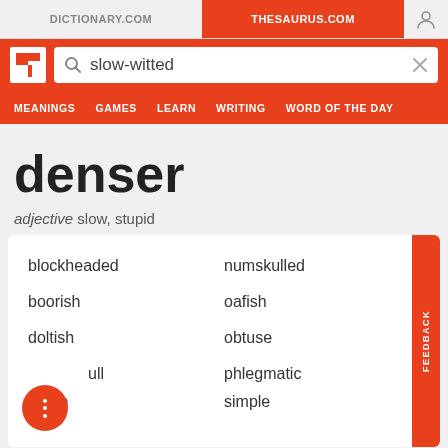DICTIONARY.COM | THESAURUS.COM
[Figure (screenshot): Thesaurus.com website header with logo, search bar showing 'slow-witted', navigation menu with MEANINGS, GAMES, LEARN, WRITING, WORD OF THE DAY]
denser
adjective slow, stupid
blockheaded
numskulled
boorish
oafish
doltish
obtuse
dull
phlegmatic
dumb
simple